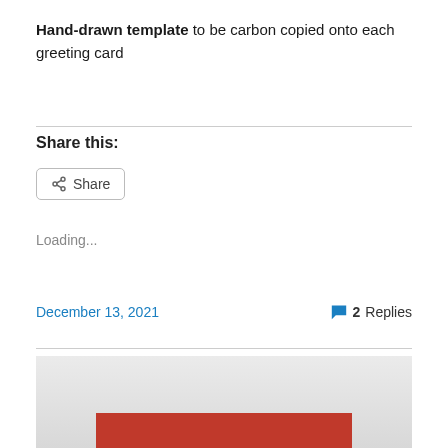Hand-drawn template to be carbon copied onto each greeting card
Share this:
[Figure (other): Share button with share icon]
Loading...
December 13, 2021   2 Replies
[Figure (photo): Partial photo showing a red greeting card on a light grey surface]